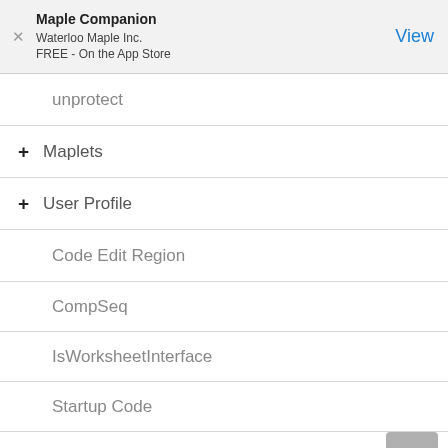Maple Companion
Waterloo Maple Inc.
FREE - On the App Store
unprotect
+ Maplets
+ User Profile
Code Edit Region
CompSeq
IsWorksheetInterface
Startup Code
+ Graphics
+ Science and Engineering